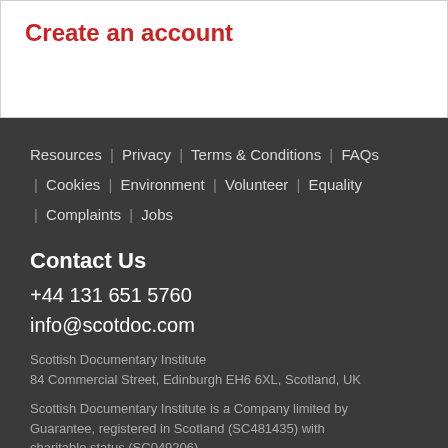Create an account
Resources | Privacy | Terms & Conditions | FAQs | Cookies | Environment | Volunteer | Equality | Complaints | Jobs
Contact Us
+44 131 651 5760
info@scotdoc.com
Scottish Documentary Institute
84 Commercial Street, Edinburgh EH6 6XL, Scotland, UK
Scottish Documentary Institute is a Company limited by Guarantee, registered in Scotland (SC481435) with charitable status (SC049206)